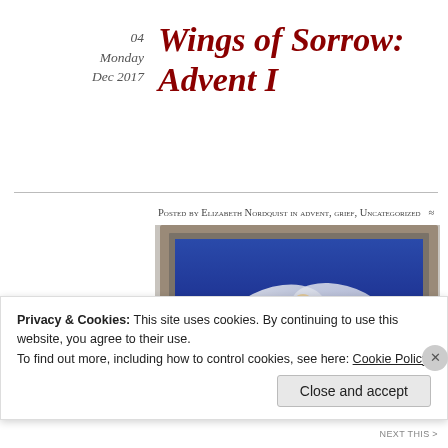04
Monday
Dec 2017
Wings of Sorrow: Advent I
Posted by Elizabeth Nordquist in advent, grief, Uncategorized   ≈ 1 Comment
Tags
Advent, waiting
[Figure (photo): Framed painting of an angel with large white wings flying against a vivid blue background, displayed in a wooden frame on a wall]
Privacy & Cookies: This site uses cookies. By continuing to use this website, you agree to their use.
To find out more, including how to control cookies, see here: Cookie Policy
Close and accept